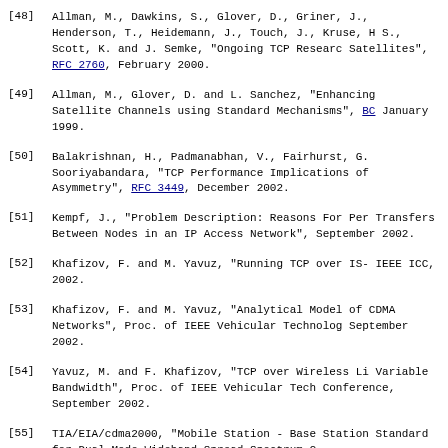[48] Allman, M., Dawkins, S., Glover, D., Griner, J., Henderson, T., Heidemann, J., Touch, J., Kruse, H., Ostermann, S., Scott, K. and J. Semke, "Ongoing TCP Research Related to Satellites", RFC 2760, February 2000.
[49] Allman, M., Glover, D. and L. Sanchez, "Enhancing TCP Over Satellite Channels using Standard Mechanisms", BCP 28, RFC 2488, January 1999.
[50] Balakrishnan, H., Padmanabhan, V., Fairhurst, G. and M. Sooriyabandara, "TCP Performance Implications of Network Asymmetry", RFC 3449, December 2002.
[51] Kempf, J., "Problem Description: Reasons For Performing Context Transfers Between Nodes in an IP Access Network", RFC 3374, September 2002.
[52] Khafizov, F. and M. Yavuz, "Running TCP over IS-2000 Networks", IEEE ICC, 2002.
[53] Khafizov, F. and M. Yavuz, "Analytical Model of RLP over IS-2000 CDMA Networks", Proc. of IEEE Vehicular Technology Conference, September 2002.
[54] Yavuz, M. and F. Khafizov, "TCP over Wireless Links with Variable Bandwidth", Proc. of IEEE Vehicular Technology Conference, September 2002.
[55] TIA/EIA/cdma2000, "Mobile Station - Base Station Compatibility Standard for Dual-Mode Wideband Spread Spectrum Cellular System".